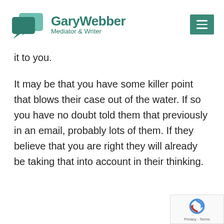Gary Webber Mediator & Writer
it to you.
It may be that you have some killer point that blows their case out of the water. If so you have no doubt told them that previously in an email, probably lots of them. If they believe that you are right they will already be taking that into account in their thinking.